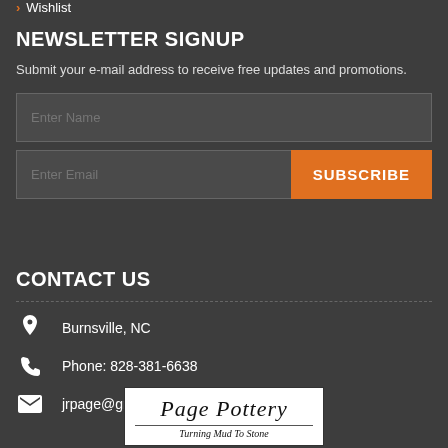> Wishlist
NEWSLETTER SIGNUP
Submit your e-mail address to receive free updates and promotions.
CONTACT US
Burnsville, NC
Phone: 828-381-6638
jrpage@gmail.com
[Figure (logo): Page Pottery logo with text 'Page Pottery - Turning Mud To Stone' on white background]